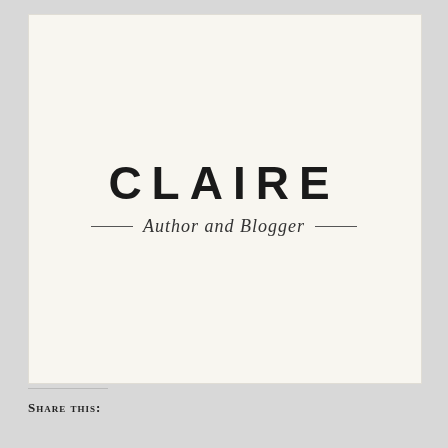[Figure (logo): Claire Author and Blogger logo — large bold spaced-out 'CLAIRE' text with script 'Author and Blogger' subtitle flanked by short horizontal rules, on cream/off-white background card]
Share this: